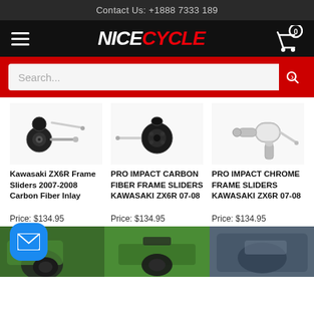Contact Us: +1888 7333 189
[Figure (logo): NiceCycle logo with hamburger menu and cart icon on black navigation bar]
[Figure (screenshot): Search bar with red background and search button]
[Figure (photo): Kawasaki ZX6R Frame Sliders product photo - black frame sliders with screws]
Kawasaki ZX6R Frame Sliders 2007-2008 Carbon Fiber Inlay
Price: $134.95
[Figure (photo): PRO IMPACT CARBON FIBER FRAME SLIDERS product photo - black frame sliders]
PRO IMPACT CARBON FIBER FRAME SLIDERS KAWASAKI ZX6R 07-08
Price: $134.95
[Figure (photo): PRO IMPACT CHROME FRAME SLIDERS product photo - chrome/silver frame sliders]
PRO IMPACT CHROME FRAME SLIDERS KAWASAKI ZX6R 07-08
Price: $134.95
[Figure (photo): Bottom row of three product photos showing installed frame sliders on motorcycles]